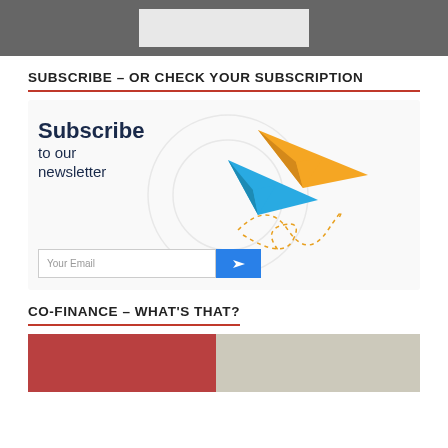SUBSCRIBE – OR CHECK YOUR SUBSCRIPTION
[Figure (illustration): Newsletter subscription graphic with paper airplanes (blue and orange/yellow) and decorative swirl, with 'Subscribe to our newsletter' text, email input field and blue submit button]
CO-FINANCE – WHAT'S THAT?
[Figure (photo): Bottom portion of page showing two images side by side: left is reddish/maroon colored and right is gray/beige toned]